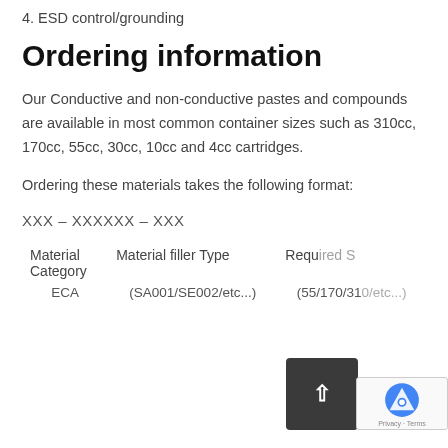4. ESD control/grounding
Ordering information
Our Conductive and non-conductive pastes and compounds are available in most common container sizes such as 310cc, 170cc, 55cc, 30cc, 10cc and 4cc cartridges.
Ordering these materials takes the following format:
| Material Category | Material filler Type | Required Size |
| --- | --- | --- |
| ECA | (SA001/SE002/etc...) | (55/170/310/etc...) |